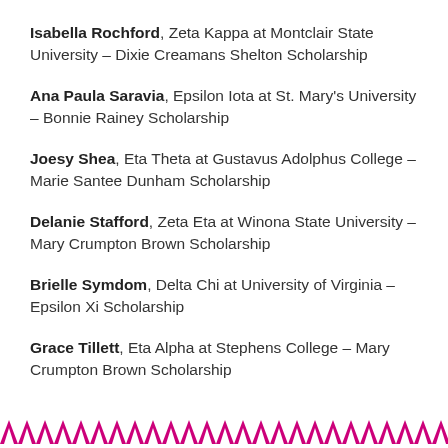Isabella Rochford, Zeta Kappa at Montclair State University – Dixie Creamans Shelton Scholarship
Ana Paula Saravia, Epsilon Iota at St. Mary's University – Bonnie Rainey Scholarship
Joesy Shea, Eta Theta at Gustavus Adolphus College – Marie Santee Dunham Scholarship
Delanie Stafford, Zeta Eta at Winona State University – Mary Crumpton Brown Scholarship
Brielle Symdom, Delta Chi at University of Virginia – Epsilon Xi Scholarship
Grace Tillett, Eta Alpha at Stephens College – Mary Crumpton Brown Scholarship
decorative chevron border